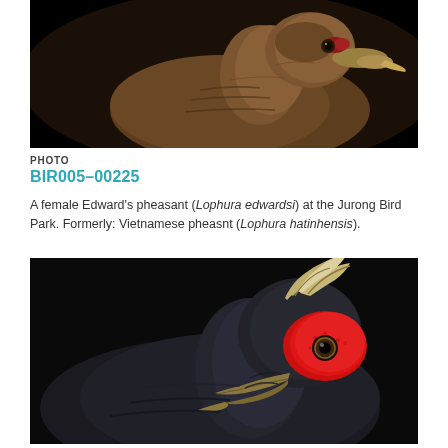[Figure (photo): Close-up portrait of a female Edward's pheasant (brown plumage) against a black background, showing head and neck in profile]
PHOTO
BIR005-00225
A female Edward's pheasant (Lophura edwardsi) at the Jurong Bird Park. Formerly: Vietnamese pheasnt (Lophura hatinhensis).
[Figure (photo): Close-up portrait of a male pheasant with a prominent red facial patch, white-tipped black crest feathers, dark plumage, and a pale beak against a black background]